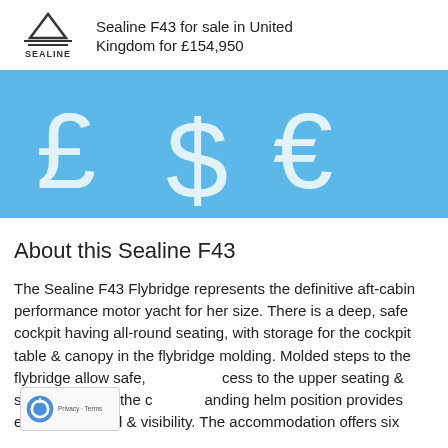Sealine F43 for sale in United Kingdom for £154,950
[Figure (illustration): Currency symbols banner: pound sign (£), dollar sign ($), and euro sign (€) displayed in white on a sky-blue background]
About this Sealine F43
The Sealine F43 Flybridge represents the definitive aft-cabin performance motor yacht for her size. There is a deep, safe cockpit having all-round seating, with storage for the cockpit table & canopy in the flybridge molding. Molded steps to the flybridge allow safe, easy access to the upper seating & sunbed area, & the commanding helm position provides excellent control & visibility. The accommodation offers six